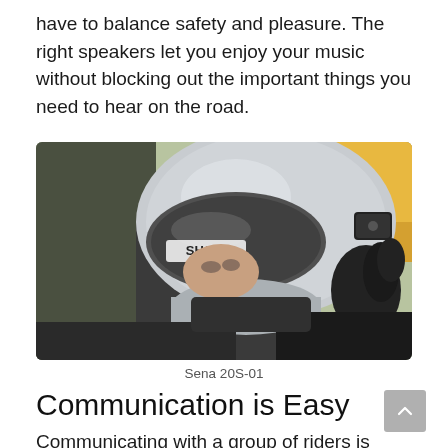have to balance safety and pleasure. The right speakers let you enjoy your music without blocking out the important things you need to hear on the road.
[Figure (photo): A motorcyclist wearing a silver SHOEI helmet with visor down, adjusting something on the helmet with a gloved hand. A Bluetooth/communication device is visible on the side of the helmet.]
Sena 20S-01
Communication is Easy
Communicating with a group of riders is